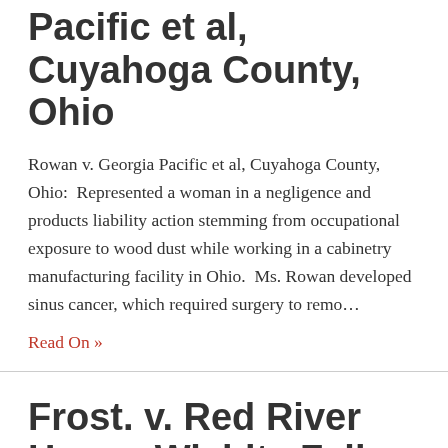Pacific et al, Cuyahoga County, Ohio
Rowan v. Georgia Pacific et al, Cuyahoga County, Ohio:  Represented a woman in a negligence and products liability action stemming from occupational exposure to wood dust while working in a cabinetry manufacturing facility in Ohio.  Ms. Rowan developed sinus cancer, which required surgery to remo…
Read On »
Frost. v. Red River Hosp., Wichita Falls County, Texas